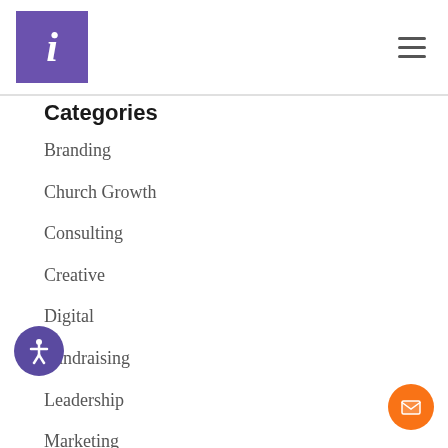[Figure (logo): Purple square logo with white italic letter i]
[Figure (other): Hamburger menu icon (three horizontal lines)]
Categories
Branding
Church Growth
Consulting
Creative
Digital
Fundraising
Leadership
Marketing
Media